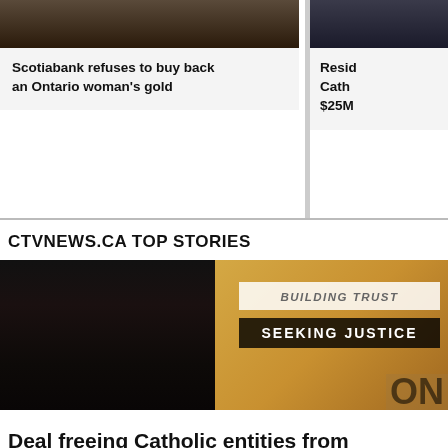[Figure (photo): News story image for Scotiabank article (top of page, partially visible)]
Scotiabank refuses to buy back an Ontario woman's gold
[Figure (photo): Partially visible image for residential Catholic story (right side, cropped)]
Resid Cath $25M
CTVNEWS.CA TOP STORIES
[Figure (photo): Photo of a man in a suit speaking at an event with a yellow banner reading 'BUILDING TRUST' and 'SEEKING JUSTICE' behind him]
Deal freeing Catholic entities from